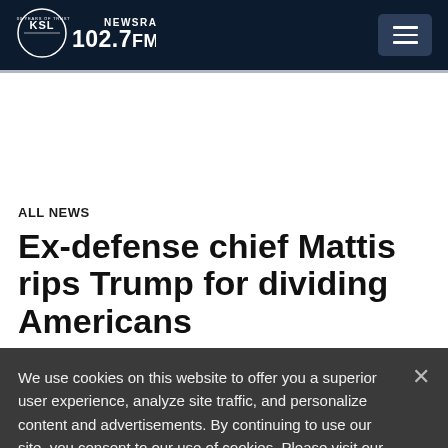[Figure (logo): KSL NewsRadio 102.7FM logo — circular design with KSL text and '100 Years of Trust' tagline, white on dark navy background]
ALL NEWS
Ex-defense chief Mattis rips Trump for dividing Americans
We use cookies on this website to offer you a superior user experience, analyze site traffic, and personalize content and advertisements. By continuing to use our site, you consent to our use of cookies. Please visit our Privacy Policy for more information.